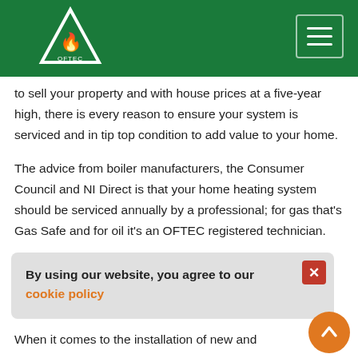OFTEC header with logo and navigation
to sell your property and with house prices at a five-year high, there is every reason to ensure your system is serviced and in tip top condition to add value to your home.
The advice from boiler manufacturers, the Consumer Council and NI Direct is that your home heating system should be serviced annually by a professional; for gas that's Gas Safe and for oil it's an OFTEC registered technician.
By staying on top of servicing schedules you can
By using our website, you agree to our cookie policy
When it comes to the installation of new and